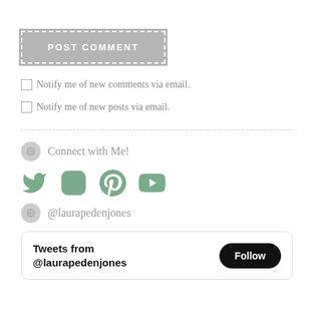[Figure (other): POST COMMENT button with dashed white border on gray background]
Notify me of new comments via email.
Notify me of new posts via email.
Connect with Me!
[Figure (illustration): Social media icons: Twitter, Instagram, Pinterest, YouTube in muted green color]
@laurapedenjones
[Figure (screenshot): Tweets from @laurapedenjones widget with Follow button]